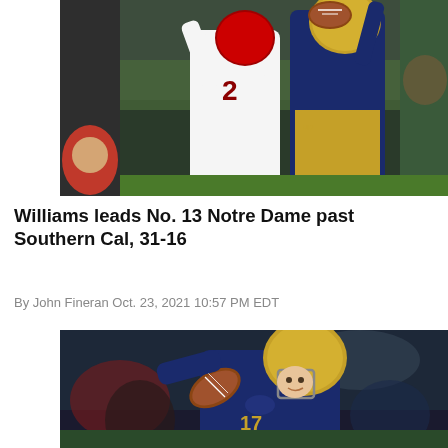[Figure (photo): Football action photo showing Notre Dame player in navy/gold uniform competing for a catch against a USC player in white/red uniform, crowd in background]
Williams leads No. 13 Notre Dame past Southern Cal, 31-16
By John Fineran Oct. 23, 2021 10:57 PM EDT
[Figure (photo): Notre Dame quarterback in navy uniform with gold helmet winding up to throw a pass during a night game]